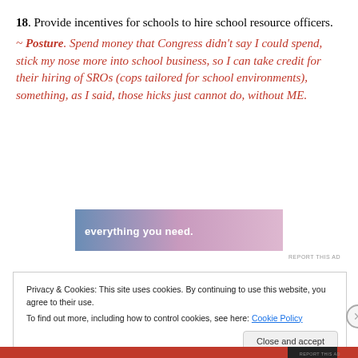18. Provide incentives for schools to hire school resource officers.
~ Posture. Spend money that Congress didn't say I could spend, stick my nose more into school business, so I can take credit for their hiring of SROs (cops tailored for school environments), something, as I said, those hicks just cannot do, without ME.
[Figure (other): Advertisement banner with gradient background (blue to pink) showing text 'everything you need.']
REPORT THIS AD
Privacy & Cookies: This site uses cookies. By continuing to use this website, you agree to their use.
To find out more, including how to control cookies, see here: Cookie Policy